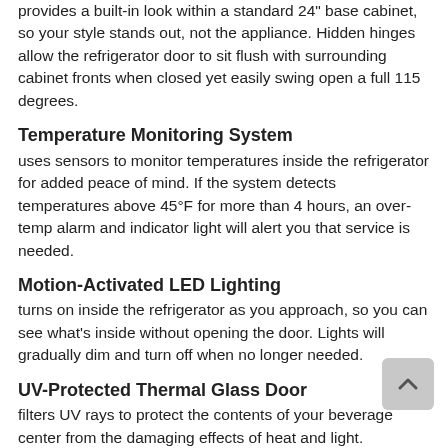provides a built-in look within a standard 24" base cabinet, so your style stands out, not the appliance. Hidden hinges allow the refrigerator door to sit flush with surrounding cabinet fronts when closed yet easily swing open a full 115 degrees.
Temperature Monitoring System
uses sensors to monitor temperatures inside the refrigerator for added peace of mind. If the system detects temperatures above 45°F for more than 4 hours, an over-temp alarm and indicator light will alert you that service is needed.
Motion-Activated LED Lighting
turns on inside the refrigerator as you approach, so you can see what's inside without opening the door. Lights will gradually dim and turn off when no longer needed.
UV-Protected Thermal Glass Door
filters UV rays to protect the contents of your beverage center from the damaging effects of heat and light.
5.2 Cu. Ft. Capacity
features two full-width glass shelves and one half-shelf